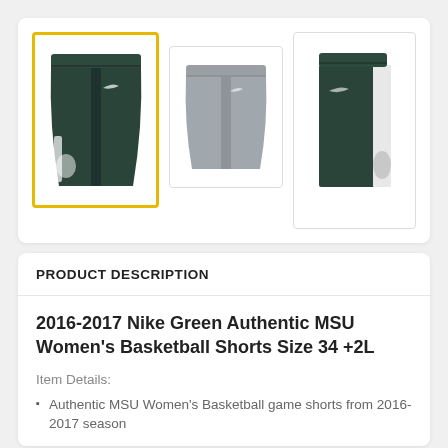[Figure (photo): Three thumbnail images of MSU basketball shorts: first (selected, yellow border) shows dark green shorts front view, second shows gray shorts front view, third shows dark green shorts side view with white stripe and Spartan logo]
PRODUCT DESCRIPTION
2016-2017 Nike Green Authentic MSU Women's Basketball Shorts Size 34 +2L
Item Details:
Authentic MSU Women's Basketball game shorts from 2016-2017 season